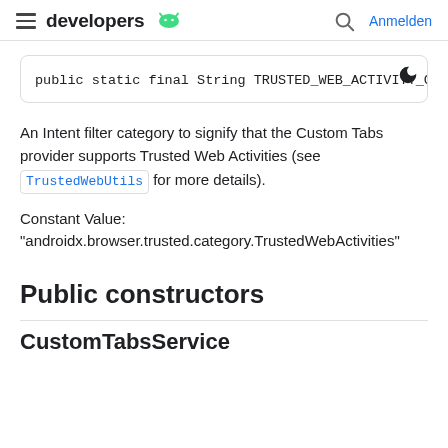developers  Anmelden
public static final String TRUSTED_WEB_ACTIVITY_CATE
An Intent filter category to signify that the Custom Tabs provider supports Trusted Web Activities (see TrustedWebUtils for more details).
Constant Value:
"androidx.browser.trusted.category.TrustedWebActivities"
Public constructors
CustomTabsService